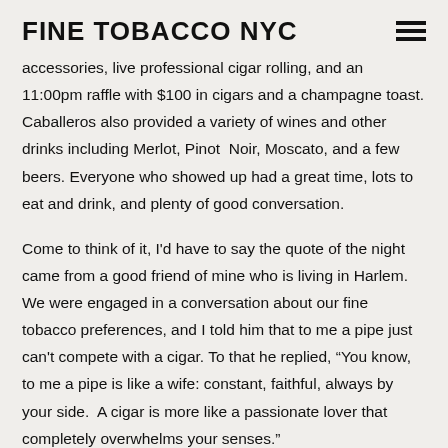FINE TOBACCO NYC
accessories, live professional cigar rolling, and an 11:00pm raffle with $100 in cigars and a champagne toast. Caballeros also provided a variety of wines and other drinks including Merlot, Pinot Noir, Moscato, and a few beers. Everyone who showed up had a great time, lots to eat and drink, and plenty of good conversation.
Come to think of it, I'd have to say the quote of the night came from a good friend of mine who is living in Harlem. We were engaged in a conversation about our fine tobacco preferences, and I told him that to me a pipe just can't compete with a cigar. To that he replied, “You know, to me a pipe is like a wife: constant, faithful, always by your side. A cigar is more like a passionate lover that completely overwhelms your senses.”